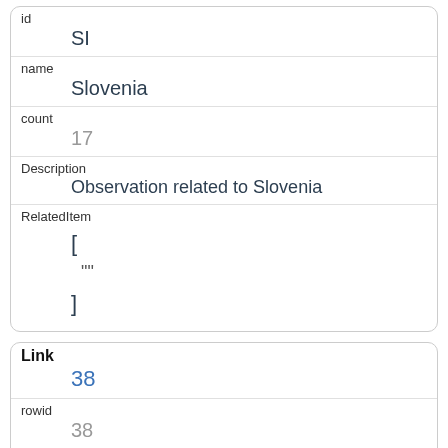| Field | Value |
| --- | --- |
| id | SI |
| name | Slovenia |
| count | 17 |
| Description | Observation related to Slovenia |
| RelatedItem | [
  ""
] |
| Field | Value |
| --- | --- |
| Link | 38 |
| rowid | 38 |
| dataset_code | gbard_environment_nabs02_eur_hab |
| var_name | g98 |